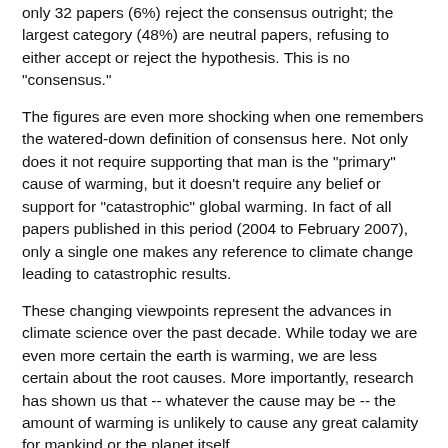only 32 papers (6%) reject the consensus outright; the largest category (48%) are neutral papers, refusing to either accept or reject the hypothesis. This is no "consensus."
The figures are even more shocking when one remembers the watered-down definition of consensus here. Not only does it not require supporting that man is the "primary" cause of warming, but it doesn't require any belief or support for "catastrophic" global warming. In fact of all papers published in this period (2004 to February 2007), only a single one makes any reference to climate change leading to catastrophic results.
These changing viewpoints represent the advances in climate science over the past decade. While today we are even more certain the earth is warming, we are less certain about the root causes. More importantly, research has shown us that -- whatever the cause may be -- the amount of warming is unlikely to cause any great calamity for mankind or the planet itself.
Schulte's survey contradicts the United Nation IPCC's Fourth